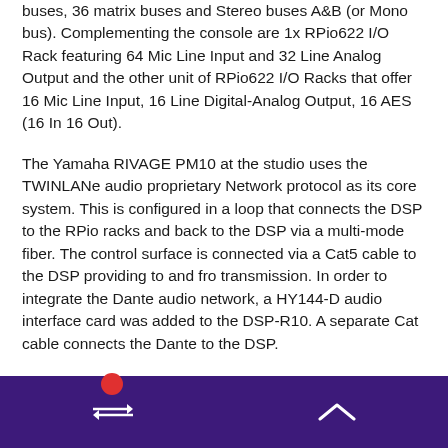buses, 36 matrix buses and Stereo buses A&B (or Mono bus). Complementing the console are 1x RPio622 I/O Rack featuring 64 Mic Line Input and 32 Line Analog Output and the other unit of RPio622 I/O Racks that offer 16 Mic Line Input, 16 Line Digital-Analog Output, 16 AES (16 In 16 Out).
The Yamaha RIVAGE PM10 at the studio uses the TWINLANe audio proprietary Network protocol as its core system. This is configured in a loop that connects the DSP to the RPio racks and back to the DSP via a multi-mode fiber. The control surface is connected via a Cat5 cable to the DSP providing to and fro transmission. In order to integrate the Dante audio network, a HY144-D audio interface card was added to the DSP-R10. A separate Cat cable connects the Dante to the DSP.
“With the TWINLANe, it is a closed network that does not need an IP assigned. As a ring topology, there is redundancy as well. From a technical viewpoint, because it is a closed network there is no need for networking skills which makes it all so much easier for installation,” said Aloysius Tang, Technical Support Engineer, Sales & Marketing, ASEAN PA Division, Yamaha Music (Asia) Private Limited.